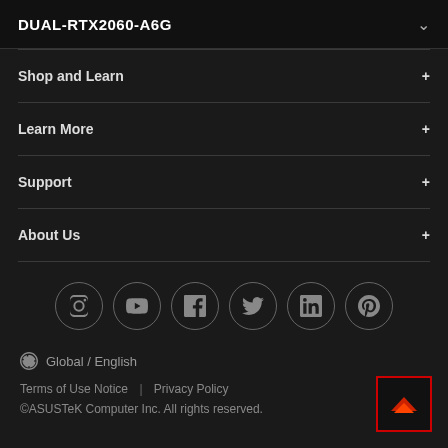DUAL-RTX2060-A6G
Shop and Learn
Learn More
Support
About Us
[Figure (illustration): Social media icons in circles: Instagram, YouTube, Facebook, Twitter, LinkedIn, Pinterest]
Global / English
Terms of Use Notice  |  Privacy Policy
©ASUSTeK Computer Inc. All rights reserved.
[Figure (illustration): Back to top button with red border and orange/red upward chevron arrow on black background]